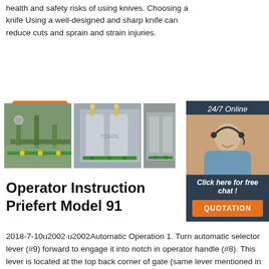health and safety risks of using knives. Choosing a knife Using a well-designed and sharp knife can reduce cuts and sprain and strain injuries.
[Figure (other): Orange 'Get Price' button]
[Figure (other): 24/7 Online chat widget with agent photo, 'Click here for free chat!' text and orange QUOTATION button]
[Figure (photo): Industrial piping/equipment photo]
[Figure (photo): Close-up of industrial machine/filter unit]
[Figure (photo): Partial industrial equipment photo]
Operator Instruction Priefert Model 91
2018-7-10u2002·u2002Automatic Operation 1. Turn automatic selector lever (#9) forward to engage it into notch in operator handle (#8). This lever is located at the top back corner of gate (same lever mentioned in